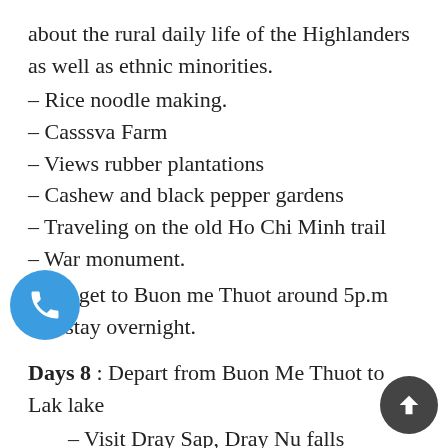about the rural daily life of the Highlanders as well as ethnic minorities.
– Rice noodle making.
– Casssva Farm
– Views rubber plantations
– Cashew and black pepper gardens
– Traveling on the old Ho Chi Minh trail
– War monument.
Then get to Buon me Thuot around 5p.m and stay overnight.
Days 8 : Depart from Buon Me Thuot to Lak lake
– Visit Dray Sap, Dray Nu falls
– Jump to swim in Fairy pool, take a water massage from waterfall.
– Ride on red dirt road to Lak lake – put Bike on fairy to crossing the river and visit M'lieng village or Tay & EDE peoples